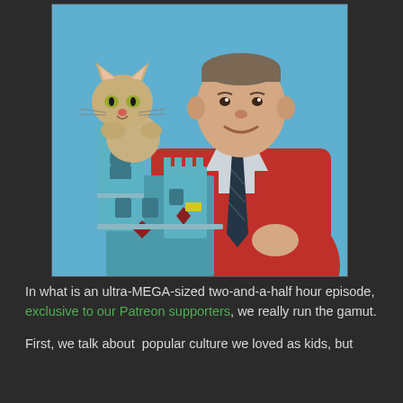[Figure (photo): A man wearing a red cardigan sweater holding a cat puppet and a teal castle prop, smiling, against a blue background. The cat puppet is sitting on top of the castle towers.]
In what is an ultra-MEGA-sized two-and-a-half hour episode, exclusive to our Patreon supporters, we really run the gamut.
First, we talk about  popular culture we loved as kids, but